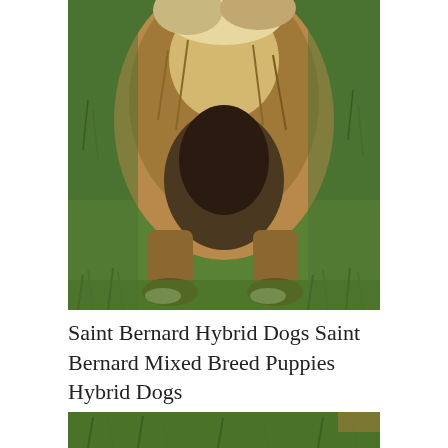[Figure (photo): Close-up photo of a large fluffy dog (Saint Bernard hybrid) standing on green grass, showing its body from chest down to paws. The dog has brown, black, and white fur. Its large paws are visible on the grass.]
Saint Bernard Hybrid Dogs Saint Bernard Mixed Breed Puppies Hybrid Dogs
[Figure (photo): Partial view of another photo showing green grass, bottom of the page.]